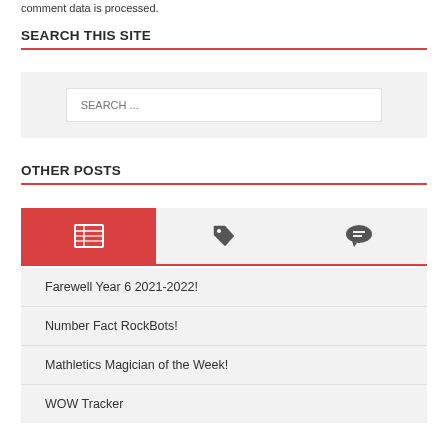comment data is processed.
SEARCH THIS SITE
[Figure (screenshot): Search input box with placeholder text 'SEARCH ...' on a light gray background]
OTHER POSTS
[Figure (infographic): Tab bar with three icons: newspaper/posts icon (active, red background), tag icon, and comment/speech bubble icon]
Farewell Year 6 2021-2022!
Number Fact RockBots!
Mathletics Magician of the Week!
WOW Tracker